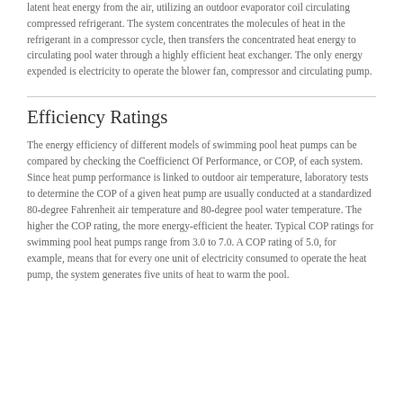latent heat energy from the air, utilizing an outdoor evaporator coil circulating compressed refrigerant. The system concentrates the molecules of heat in the refrigerant in a compressor cycle, then transfers the concentrated heat energy to circulating pool water through a highly efficient heat exchanger. The only energy expended is electricity to operate the blower fan, compressor and circulating pump.
Efficiency Ratings
The energy efficiency of different models of swimming pool heat pumps can be compared by checking the Coefficienct Of Performance, or COP, of each system. Since heat pump performance is linked to outdoor air temperature, laboratory tests to determine the COP of a given heat pump are usually conducted at a standardized 80-degree Fahrenheit air temperature and 80-degree pool water temperature. The higher the COP rating, the more energy-efficient the heater. Typical COP ratings for swimming pool heat pumps range from 3.0 to 7.0. A COP rating of 5.0, for example, means that for every one unit of electricity consumed to operate the heat pump, the system generates five units of heat to warm the pool.